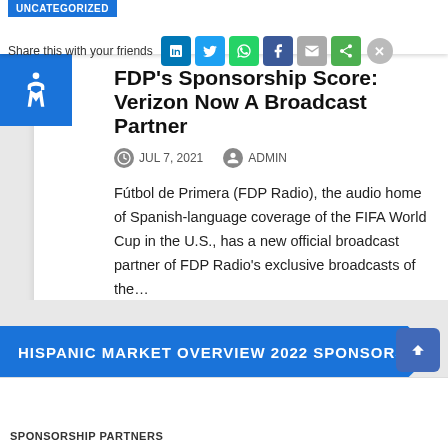UNCATEGORIZED | Share this with your friends
FDP's Sponsorship Score: Verizon Now A Broadcast Partner
JUL 7, 2021  ADMIN
Fútbol de Primera (FDP Radio), the audio home of Spanish-language coverage of the FIFA World Cup in the U.S., has a new official broadcast partner of FDP Radio's exclusive broadcasts of the…
HISPANIC MARKET OVERVIEW 2022 SPONSORS
SPONSORSHIP PARTNERS